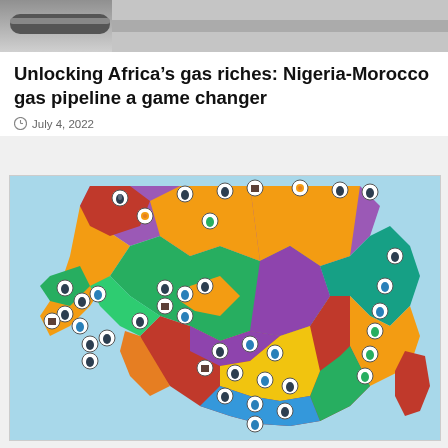[Figure (photo): Partial top image, appears to be a pipe or industrial object, cropped]
Unlocking Africa's gas riches: Nigeria-Morocco gas pipeline a game changer
July 4, 2022
[Figure (map): Colorful political map of Africa with oil/gas resource icons (oil drops, trees, other symbols) overlaid on each country, indicating natural resource locations across the continent]